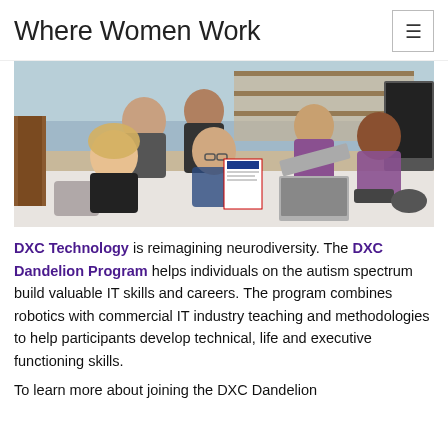Where Women Work
[Figure (photo): Group of five people (three men and two women) seated and standing around a white table in a modern office. One woman holds up a document. A laptop and other items are on the table.]
DXC Technology is reimagining neurodiversity. The DXC Dandelion Program helps individuals on the autism spectrum build valuable IT skills and careers. The program combines robotics with commercial IT industry teaching and methodologies to help participants develop technical, life and executive functioning skills.
To learn more about joining the DXC Dandelion